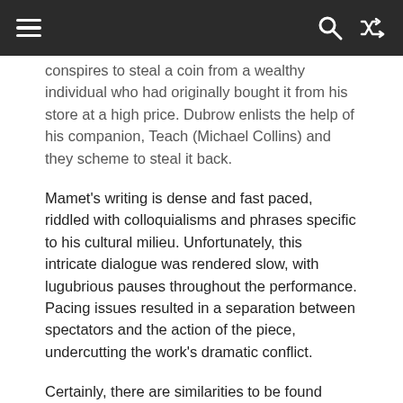≡  🔍  🔀
conspires to steal a coin from a wealthy individual who had originally bought it from his store at a high price. Dubrow enlists the help of his companion, Teach (Michael Collins) and they scheme to steal it back.
Mamet's writing is dense and fast paced, riddled with colloquialisms and phrases specific to his cultural milieu. Unfortunately, this intricate dialogue was rendered slow, with lugubrious pauses throughout the performance. Pacing issues resulted in a separation between spectators and the action of the piece, undercutting the work's dramatic conflict.
Certainly, there are similarities to be found between the content of American Buffalo and the current Australian political climate; Abbott's raging neoliberalism, for one. However, the specificities of the American vernacular appeared inappropriate in an Australian setting and with